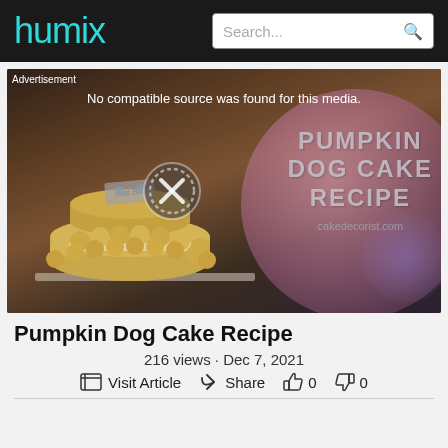humix | Search...
[Figure (screenshot): Video thumbnail showing a pumpkin dog cake with 'PUMPKIN DOG CAKE RECIPE' text overlay and cakedecorist.com, with Advertisement label and 'No compatible source was found for this media.' message, and a circular play/error button overlay]
Pumpkin Dog Cake Recipe
216 views · Dec 7, 2021
Visit Article  Share  0  0